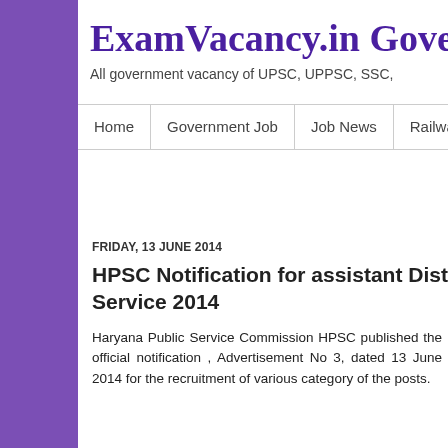ExamVacancy.in Gover
All government vacancy of UPSC, UPPSC, SSC,
Home | Government Job | Job News | Railway | U
FRIDAY, 13 JUNE 2014
HPSC Notification for assistant District Att Service 2014
Haryana Public Service Commission HPSC published the official notification , Advertisement No 3, dated 13 June 2014 for the recruitment of various category of the posts.